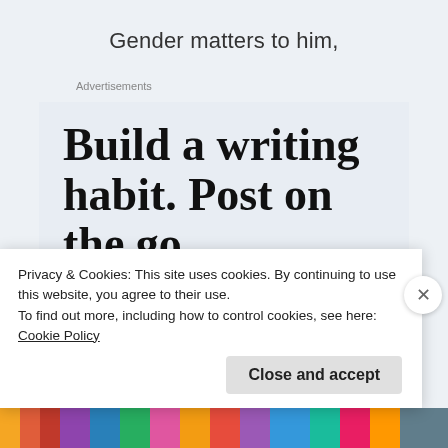Gender matters to him,
Advertisements
[Figure (screenshot): WordPress app advertisement: large serif bold text reading 'Build a writing habit. Post on the go.' with a 'GET THE APP' link and the WordPress circular W logo icon in a rounded blue box.]
Privacy & Cookies: This site uses cookies. By continuing to use this website, you agree to their use.
To find out more, including how to control cookies, see here: Cookie Policy
[Figure (other): Colorful decorative rainbow-patterned bottom bar]